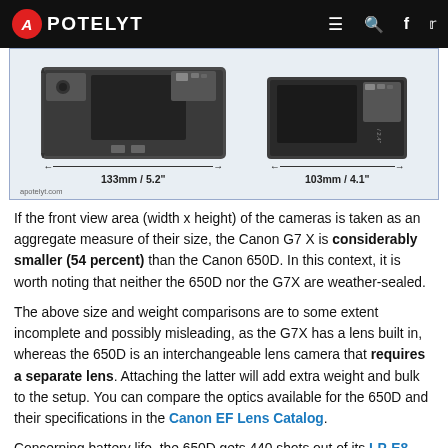APOTELYT
[Figure (photo): Side-by-side top-view comparison of two cameras (Canon 650D and Canon G7 X) showing width measurements: 133mm / 5.2" for the larger camera and 103mm / 4.1" for the smaller camera. Attribution: apotelyt.com]
If the front view area (width x height) of the cameras is taken as an aggregate measure of their size, the Canon G7 X is considerably smaller (54 percent) than the Canon 650D. In this context, it is worth noting that neither the 650D nor the G7X are weather-sealed.
The above size and weight comparisons are to some extent incomplete and possibly misleading, as the G7X has a lens built in, whereas the 650D is an interchangeable lens camera that requires a separate lens. Attaching the latter will add extra weight and bulk to the setup. You can compare the optics available for the 650D and their specifications in the Canon EF Lens Catalog.
Concerning battery life, the 650D gets 440 shots out of its LP-E8 battery, while the G7X can take 210 images on a